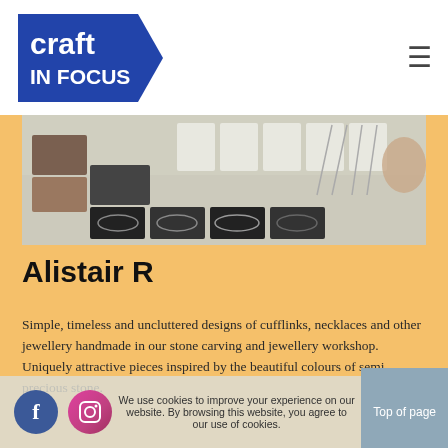craft IN FOCUS
[Figure (photo): Jewelry display table showing cufflinks, necklaces, bracelets and other handmade jewellery items arranged on dark display stands and boards, with necklaces hanging on stands in the background]
Alistair R
Simple, timeless and uncluttered designs of cufflinks, necklaces and other jewellery handmade in our stone carving and jewellery workshop. Uniquely attractive pieces inspired by the beautiful colours of semi precious stone.
Click for website
We use cookies to improve your experience on our website. By browsing this website, you agree to our use of cookies. Top of page